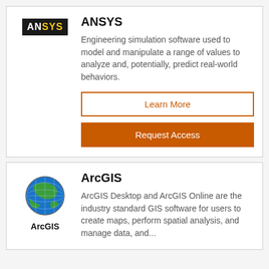[Figure (logo): ANSYS logo — black rectangle with white AN and gold SYS text]
ANSYS
Engineering simulation software used to model and manipulate a range of values to analyze and, potentially, predict real-world behaviors.
Learn More
Request Access
[Figure (logo): ArcGIS globe logo — colorful sphere with blue, green segments, and ArcGIS label below]
ArcGIS
ArcGIS Desktop and ArcGIS Online are the industry standard GIS software for users to create maps, perform spatial analysis, and manage data, and...